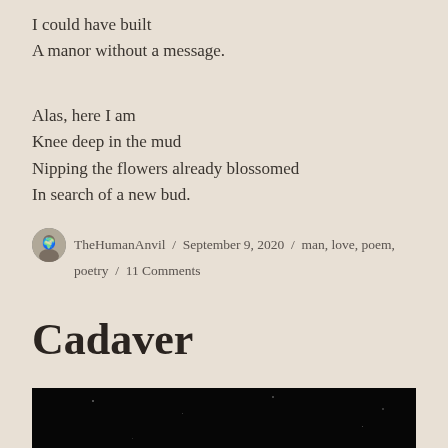I could have built
A manor without a message.
Alas, here I am
Knee deep in the mud
Nipping the flowers already blossomed
In search of a new bud.
TheHumanAnvil / September 9, 2020 / man, love, poem, poetry / 11 Comments
Cadaver
[Figure (photo): Dark nearly black image, appears to be a night sky or dark background with faint specks resembling stars]